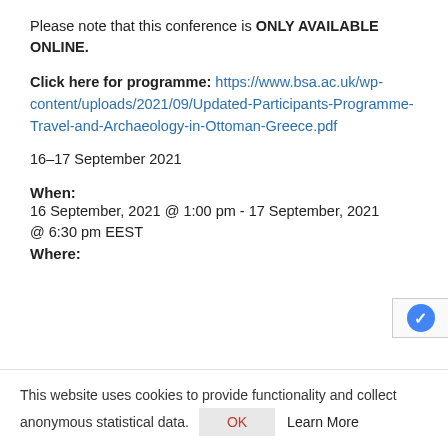Please note that this conference is ONLY AVAILABLE ONLINE.
Click here for programme: https://www.bsa.ac.uk/wp-content/uploads/2021/09/Updated-Participants-Programme-Travel-and-Archaeology-in-Ottoman-Greece.pdf
16–17 September 2021
When:
16 September, 2021 @ 1:00 pm - 17 September, 2021 @ 6:30 pm EEST
Where:
This website uses cookies to provide functionality and collect anonymous statistical data.